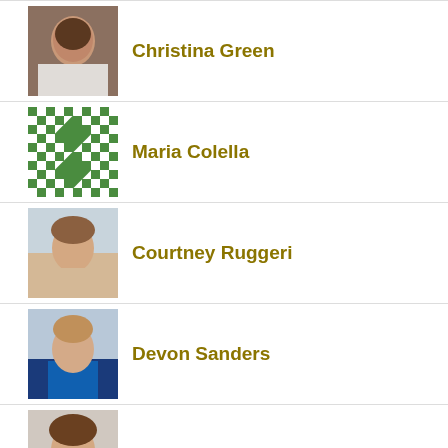[Figure (photo): Portrait photo of Christina Green]
Christina Green
[Figure (illustration): Green and white checkerboard pattern avatar for Maria Colella]
Maria Colella
[Figure (photo): Portrait photo of Courtney Ruggeri]
Courtney Ruggeri
[Figure (photo): Portrait photo of Devon Sanders]
Devon Sanders
[Figure (photo): Portrait photo of Elizabeth Gooen]
Elizabeth Gooen
[Figure (photo): Portrait photo of Ismail (Izzy) Ercan]
Ismail (Izzy) Ercan